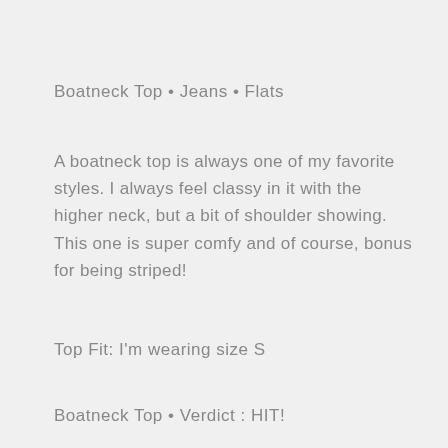Boatneck Top • Jeans • Flats
A boatneck top is always one of my favorite styles.  I always feel classy in it with the higher neck, but a bit of shoulder showing. This one is super comfy and of course, bonus for being striped!
Top Fit: I'm wearing size S
Boatneck Top • Verdict : HIT!